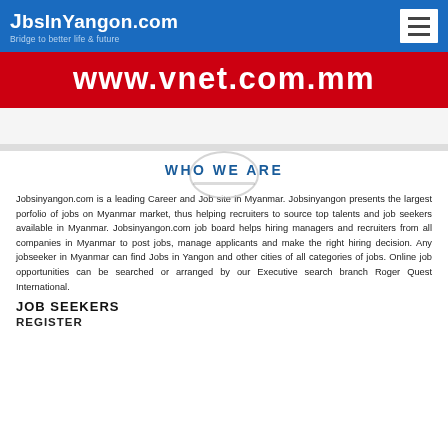JobsInYangon.com — Bridge to better life & future
[Figure (screenshot): Red banner advertisement showing www.vnet.com.mm in bold white text]
WHO WE ARE
Jobsinyangon.com is a leading Career and Job site in Myanmar. Jobsinyangon presents the largest porfolio of jobs on Myanmar market, thus helping recruiters to source top talents and job seekers available in Myanmar. Jobsinyangon.com job board helps hiring managers and recruiters from all companies in Myanmar to post jobs, manage applicants and make the right hiring decision. Any jobseeker in Myanmar can find Jobs in Yangon and other cities of all categories of jobs. Online job opportunities can be searched or arranged by our Executive search branch Roger Quest International.
JOB SEEKERS
REGISTER